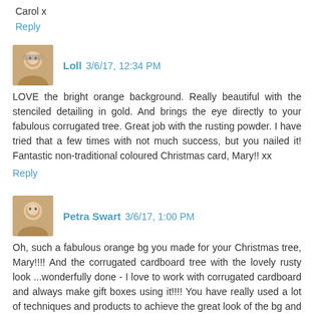Carol x
Reply
Loll 3/6/17, 12:34 PM
LOVE the bright orange background. Really beautiful with the stenciled detailing in gold. And brings the eye directly to your fabulous corrugated tree. Great job with the rusting powder. I have tried that a few times with not much success, but you nailed it! Fantastic non-traditional coloured Christmas card, Mary!! xx
Reply
Petra Swart 3/6/17, 1:00 PM
Oh, such a fabulous orange bg you made for your Christmas tree, Mary!!!! And the corrugated cardboard tree with the lovely rusty look ...wonderfully done - I love to work with corrugated cardboard and always make gift boxes using it!!!! You have really used a lot of techniques and products to achieve the great look of the bg and the tree!!!!